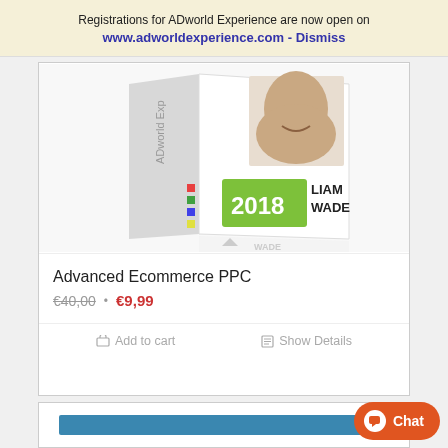Registrations for ADworld Experience are now open on www.adworldexperience.com - Dismiss
[Figure (photo): Product box for ADworld Experience 2018 - Liam Wade, Advanced Ecommerce PPC course]
Advanced Ecommerce PPC
€40,00 · €9,99
Add to cart    Show Details
[Figure (screenshot): Partial view of second product card with blue banner]
Chat